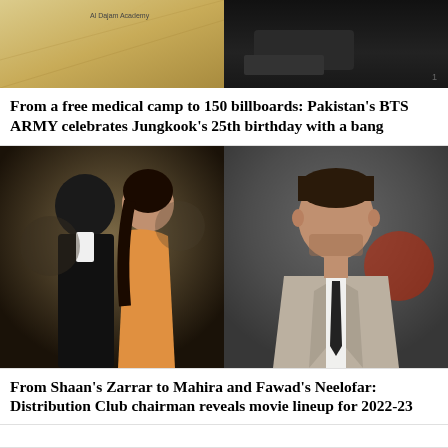[Figure (photo): Two side-by-side photos at top: left shows a yellowish/gold surface with partial text 'Al Dajam Academy', right shows a dark interior scene with the number 1 visible]
From a free medical camp to 150 billboards: Pakistan's BTS ARMY celebrates Jungkook's 25th birthday with a bang
[Figure (photo): Two side-by-side celebrity photos: left shows a couple (man in dark suit and woman in orange dress), right shows a man in a beige suit with dark tie looking stern]
From Shaan's Zarrar to Mahira and Fawad's Neelofar: Distribution Club chairman reveals movie lineup for 2022-23